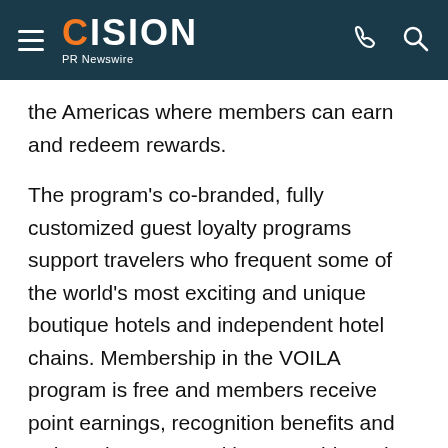CISION PR Newswire
the Americas where members can earn and redeem rewards.
The program's co-branded, fully customized guest loyalty programs support travelers who frequent some of the world's most exciting and unique boutique hotels and independent hotel chains. Membership in the VOILA program is free and members receive point earnings, recognition benefits and redemption opportunities at a wide variety of participating network hotels and partners including charities, shopping, and entertainment.